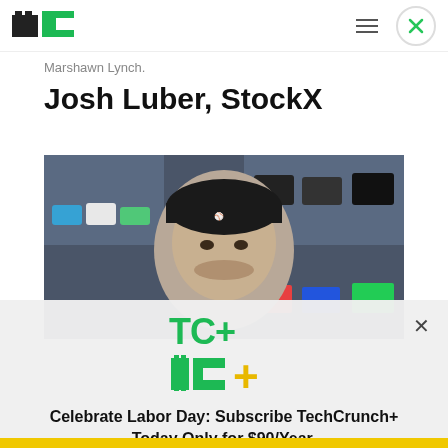[Figure (logo): TechCrunch logo: black T block and green C block]
Marshawn Lynch.
Josh Luber, StockX
[Figure (photo): Photo of Josh Luber wearing a black baseball cap in a sneaker store with colorful shoes on shelves behind him]
[Figure (logo): TC+ logo in green with yellow plus sign]
Celebrate Labor Day: Subscribe TechCrunch+ Today Only for $90/Year.
GET OFFER NOW